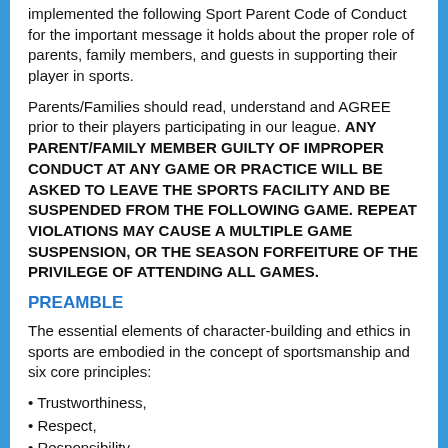implemented the following Sport Parent Code of Conduct for the important message it holds about the proper role of parents, family members, and guests in supporting their player in sports.
Parents/Families should read, understand and AGREE prior to their players participating in our league. ANY PARENT/FAMILY MEMBER GUILTY OF IMPROPER CONDUCT AT ANY GAME OR PRACTICE WILL BE ASKED TO LEAVE THE SPORTS FACILITY AND BE SUSPENDED FROM THE FOLLOWING GAME. REPEAT VIOLATIONS MAY CAUSE A MULTIPLE GAME SUSPENSION, OR THE SEASON FORFEITURE OF THE PRIVILEGE OF ATTENDING ALL GAMES.
PREAMBLE
The essential elements of character-building and ethics in sports are embodied in the concept of sportsmanship and six core principles:
Trustworthiness,
Respect,
Responsibility,